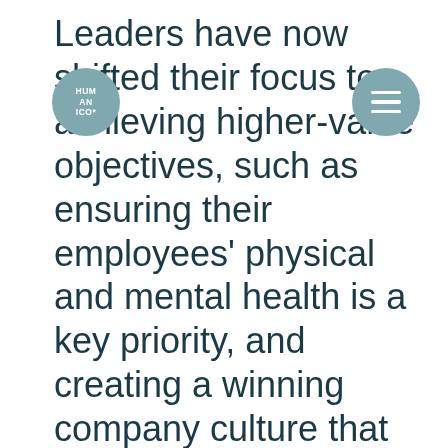[Figure (logo): Circular badge with text HUM AN ICO* in white on steel blue background]
[Figure (other): Circular button with three horizontal lines (hamburger menu) in white on steel blue background]
Leaders have now shifted their focus to achieving higher-value objectives, such as ensuring their employees' physical and mental health is a key priority, and creating a winning company culture that will lower attrition rates, retain candidates, and allow employees to thrive. Furthermore, implementing internal talent mobility allows for improved business outcomes and maximises